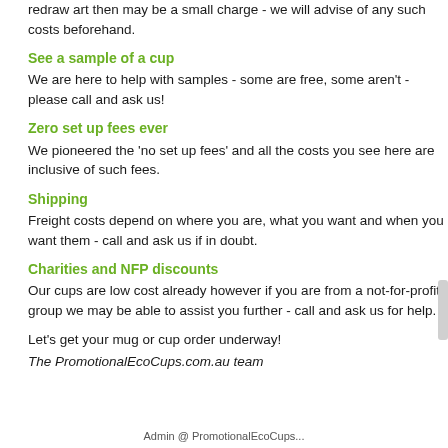redraw art then may be a small charge - we will advise of any such costs beforehand.
See a sample of a cup
We are here to help with samples - some are free, some aren't - please call and ask us!
Zero set up fees ever
We pioneered the 'no set up fees' and all the costs you see here are inclusive of such fees.
Shipping
Freight costs depend on where you are, what you want and when you want them - call and ask us if in doubt.
Charities and NFP discounts
Our cups are low cost already however if you are from a not-for-profit group we may be able to assist you further - call and ask us for help.
Let's get your mug or cup order underway!
The PromotionalEcoCups.com.au team
Admin @ PromotionalEcoCups...